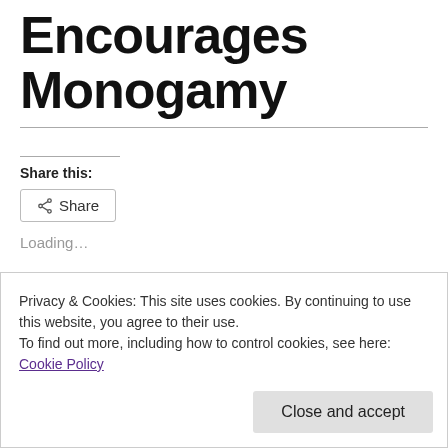Encourages Monogamy
Share this:
Share
Loading...
Privacy & Cookies: This site uses cookies. By continuing to use this website, you agree to their use.
To find out more, including how to control cookies, see here: Cookie Policy
Close and accept